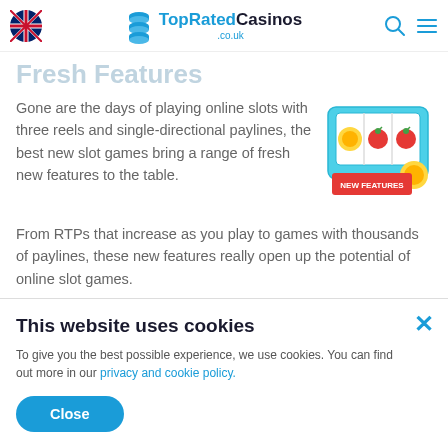TopRatedCasinos .co.uk
Fresh Features
Gone are the days of playing online slots with three reels and single-directional paylines, the best new slot games bring a range of fresh new features to the table.
[Figure (illustration): Slot machine illustration with three reels showing fruit symbols and a red banner reading NEW FEATURES]
From RTPs that increase as you play to games with thousands of paylines, these new features really open up the potential of online slot games.
(blurred background text section)
New Technology
This website uses cookies
To give you the best possible experience, we use cookies. You can find out more in our privacy and cookie policy.
Close